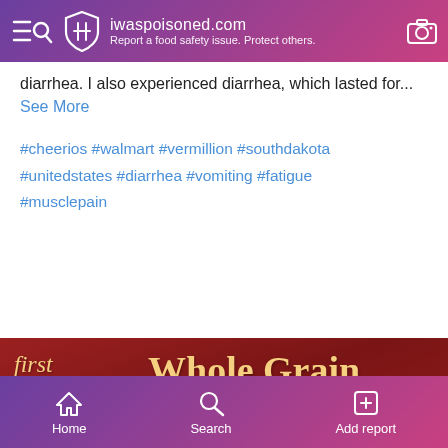iwaspoisoned.com — Report a food safety issue. Protect others.
diarrhea. I also experienced diarrhea, which lasted for... See More
#cheerios #walmart #vermillion #southdakota #unitedstates #diarrhea #vomiting #fatigue #musclepain
[Figure (photo): Close-up photo of a Cheerios cereal box showing 'first ingredient Whole Grain' text in gold lettering on a red background, with 'BEST If Used By' text at the bottom]
Home  Search  Add report